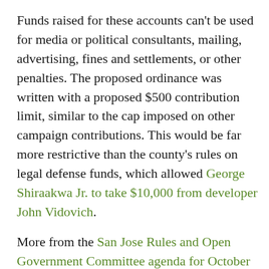Funds raised for these accounts can't be used for media or political consultants, mailing, advertising, fines and settlements, or other penalties. The proposed ordinance was written with a proposed $500 contribution limit, similar to the cap imposed on other campaign contributions. This would be far more restrictive than the county's rules on legal defense funds, which allowed George Shiraakwa Jr. to take $10,000 from developer John Vidovich.
More from the San Jose Rules and Open Government Committee agenda for October 30, 2013:
• The City Clerk will recalculate campaign expenditure limits based on the latest Bay Area-